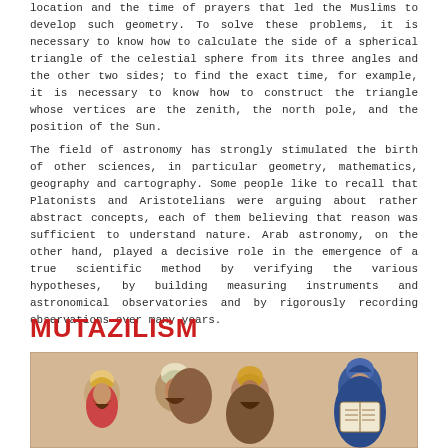location and the time of prayers that led the Muslims to develop such geometry. To solve these problems, it is necessary to know how to calculate the side of a spherical triangle of the celestial sphere from its three angles and the other two sides; to find the exact time, for example, it is necessary to know how to construct the triangle whose vertices are the zenith, the north pole, and the position of the Sun.
The field of astronomy has strongly stimulated the birth of other sciences, in particular geometry, mathematics, geography and cartography. Some people like to recall that Platonists and Aristotelians were arguing about rather abstract concepts, each of them believing that reason was sufficient to understand nature. Arab astronomy, on the other hand, played a decisive role in the emergence of a true scientific method by verifying the various hypotheses, by building measuring instruments and astronomical observatories and by rigorously recording observations over many years.
MUTAZILISM
[Figure (illustration): Medieval Islamic manuscript illustration showing four scholars in turbans and robes engaged in discussion, one holding an open book with Arabic text. Painted in traditional Persian/Arab miniature style on aged parchment background.]